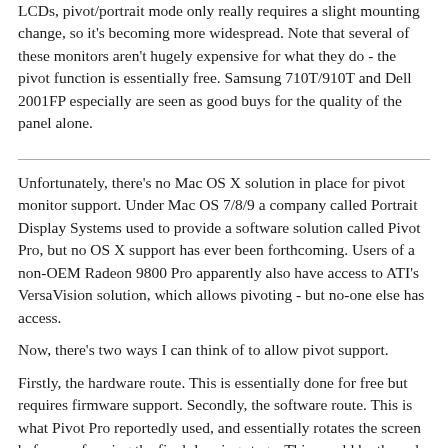LCDs, pivot/portrait mode only really requires a slight mounting change, so it's becoming more widespread. Note that several of these monitors aren't hugely expensive for what they do - the pivot function is essentially free. Samsung 710T/910T and Dell 2001FP especially are seen as good buys for the quality of the panel alone.
Unfortunately, there's no Mac OS X solution in place for pivot monitor support. Under Mac OS 7/8/9 a company called Portrait Display Systems used to provide a software solution called Pivot Pro, but no OS X support has ever been forthcoming. Users of a non-OEM Radeon 9800 Pro apparently also have access to ATI's VersaVision solution, which allows pivoting - but no-one else has access.
Now, there's two ways I can think of to allow pivot support.
Firstly, the hardware route. This is essentially done for free but requires firmware support. Secondly, the software route. This is what Pivot Pro reportedly used, and essentially rotates the screen before performing the final drawing stage. This would be the only option open to us… however, as far as I know such operations wouldn't suffer anywhere near the performance hit as they used to. Would it be possible to rotate the screen buffer before drawing, using a modification process similar to what I'd imagine the